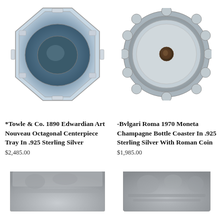[Figure (photo): Top-down view of a silver octagonal centerpiece tray with ornate decorative border and handles, Towle & Co. 1890]
[Figure (photo): Top-down view of a round silver champagne bottle coaster with scalloped edge and a Roman coin embedded in the center, Bvlgari Roma 1970]
*Towle & Co. 1890 Edwardian Art Nouveau Octagonal Centerpiece Tray In .925 Sterling Silver
$2,485.00
-Bvlgari Roma 1970 Moneta Champagne Bottle Coaster In .925 Sterling Silver With Roman Coin
$1,985.00
[Figure (photo): Partial view of a decorative silver item with embossed ornamental design, partially visible at bottom left]
[Figure (photo): Partial view of a decorative silver item with ornate embossed design, partially visible at bottom right]